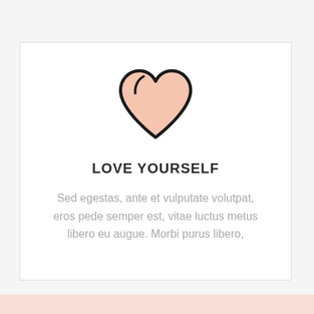[Figure (illustration): A heart icon with a peach/salmon fill and thick black outline, drawn in a modern flat style.]
LOVE YOURSELF
Sed egestas, ante et vulputate volutpat, eros pede semper est, vitae luctus metus libero eu augue. Morbi purus libero,